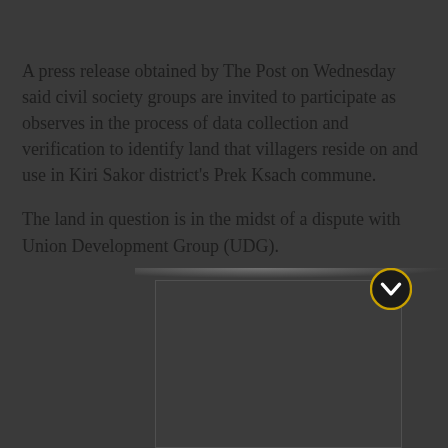A press release obtained by The Post on Wednesday said civil society groups are invited to participate as observes in the process of data collection and verification to identify land that villagers reside on and use in Kiri Sakor district's Prek Ksach commune.
The land in question is in the midst of a dispute with Union Development Group (UDG).
[Figure (screenshot): A partially visible embedded media element (video player or image) with a dark background, a glowing top edge, and a gold/yellow circular chevron-down button on the upper right corner.]